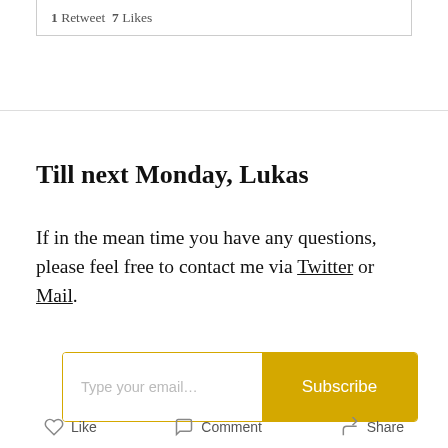1 Retweet  7 Likes
Till next Monday, Lukas
If in the mean time you have any questions, please feel free to contact me via Twitter or Mail.
[Figure (other): Email subscription box with placeholder 'Type your email...' and a yellow Subscribe button]
(The Commodity Report is not investment advice)
Like  Comment  Share